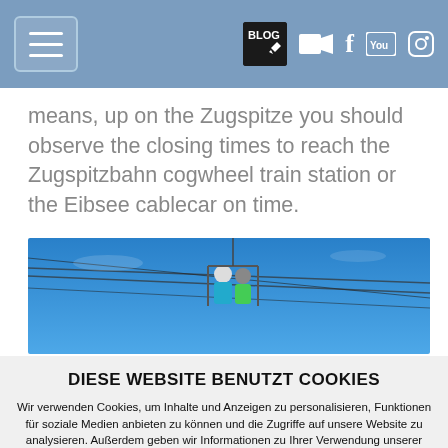Navigation bar with hamburger menu and social/blog icons
means, up on the Zugspitze you should observe the closing times to reach the Zugspitzbahn cogwheel train station or the Eibsee cablecar on time.
[Figure (photo): Two people on a cable car gondola against a bright blue sky with cables visible]
DIESE WEBSITE BENUTZT COOKIES
Wir verwenden Cookies, um Inhalte und Anzeigen zu personalisieren, Funktionen für soziale Medien anbieten zu können und die Zugriffe auf unsere Website zu analysieren. Außerdem geben wir Informationen zu Ihrer Verwendung unserer Website an unsere Partner für soziale Medien, Werbung und Analysen weiter. Unsere Partner führen diese Informationen möglicherweise mit weiteren Daten zusammen, die Sie ihnen bereitgestellt haben oder die sie im Rahmen Ihrer Nutzung der Dienste gesammelt haben. Weitere Informationen zu Cookies erhalten Sie in unseren Datenschutzhinweisen.
Ok, verstanden
Nicht zustimmen
mehr